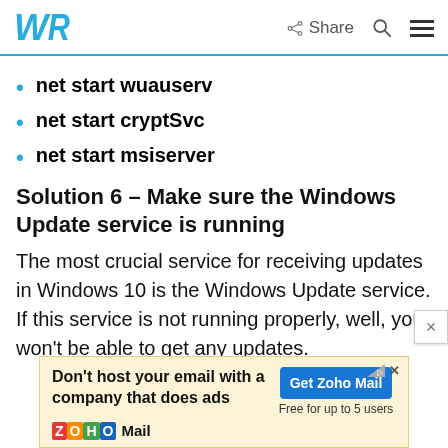WR | Share [search] [menu]
net start wuauserv
net start cryptSvc
net start msiserver
Solution 6 – Make sure the Windows Update service is running
The most crucial service for receiving updates in Windows 10 is the Windows Update service. If this service is not running properly, well, you won't be able to get any updates.
[Figure (screenshot): Advertisement banner for Zoho Mail: 'Don't host your email with a company that does ads' with 'Get Zoho Mail - Free for up to 5 users' button and Zoho Mail logo with envelope illustration]